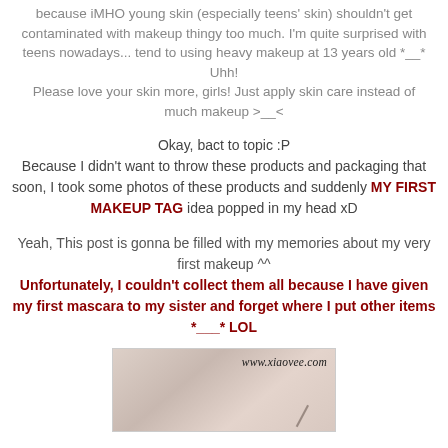because iMHO young skin (especially teens' skin) shouldn't get contaminated with makeup thingy too much. I'm quite surprised with teens nowadays... tend to using heavy makeup at 13 years old *__* Uhh!
Please love your skin more, girls! Just apply skin care instead of much makeup >__<
Okay, bact to topic :P
Because I didn't want to throw these products and packaging that soon, I took some photos of these products and suddenly MY FIRST MAKEUP TAG idea popped in my head xD
Yeah, This post is gonna be filled with my memories about my very first makeup ^^
Unfortunately, I couldn't collect them all because I have given my first mascara to my sister and forget where I put other items *___* LOL
[Figure (photo): A photo of makeup products with watermark www.xiaovee.com, showing a light pink/beige product with a brush]